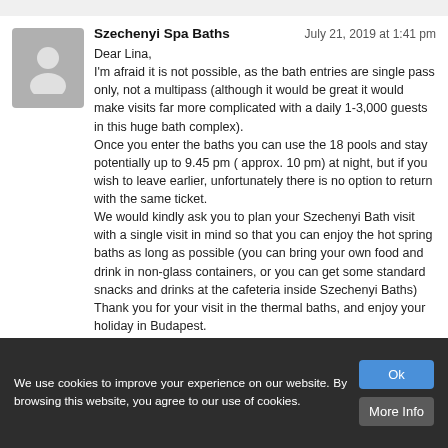[Figure (illustration): Generic user avatar silhouette on gray background]
Szechenyi Spa Baths    July 21, 2019 at 1:41 pm
Dear Lina,
I'm afraid it is not possible, as the bath entries are single pass only, not a multipass (although it would be great it would make visits far more complicated with a daily 1-3,000 guests in this huge bath complex).
Once you enter the baths you can use the 18 pools and stay potentially up to 9.45 pm ( approx. 10 pm) at night, but if you wish to leave earlier, unfortunately there is no option to return with the same ticket.
We would kindly ask you to plan your Szechenyi Bath visit with a single visit in mind so that you can enjoy the hot spring baths as long as possible (you can bring your own food and drink in non-glass containers, or you can get some standard snacks and drinks at the cafeteria inside Szechenyi Baths)
Thank you for your visit in the thermal baths, and enjoy your holiday in Budapest.
We use cookies to improve your experience on our website. By browsing this website, you agree to our use of cookies.